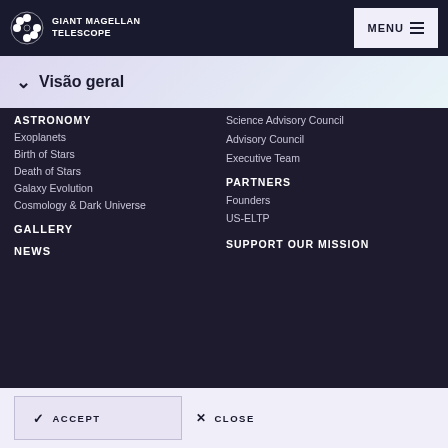GIANT MAGELLAN TELESCOPE  MENU
↓ Visão geral
ASTRONOMY
Exoplanets
Birth of Stars
Death of Stars
Galaxy Evolution
Cosmology & Dark Universe
GALLERY
NEWS
Science Advisory Council
Advisory Council
Executive Team
PARTNERS
Founders
US-ELTP
SUPPORT OUR MISSION
✓  ACCEPT    ✕  CLOSE